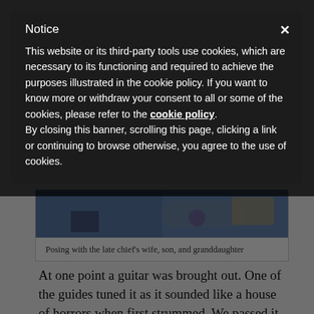[Figure (screenshot): Cookie consent notice modal overlay on a dark background, with title 'Notice', close button X, and cookie policy text]
Notice
This website or its third-party tools use cookies, which are necessary to its functioning and required to achieve the purposes illustrated in the cookie policy. If you want to know more or withdraw your consent to all or some of the cookies, please refer to the cookie policy.
By closing this banner, scrolling this page, clicking a link or continuing to browse otherwise, you agree to the use of cookies.
[Figure (photo): Photo showing a table with food including a plate of fries and other items on a blue tablecloth]
Posing with the late chief's wife, son, and granddaughter
At one point a guitar was brought out. One of the guides tuned it as it sounded like a house of horrors when first strummed. We passed it around, and I butchered a few songs before passing it around. The only time I am ever